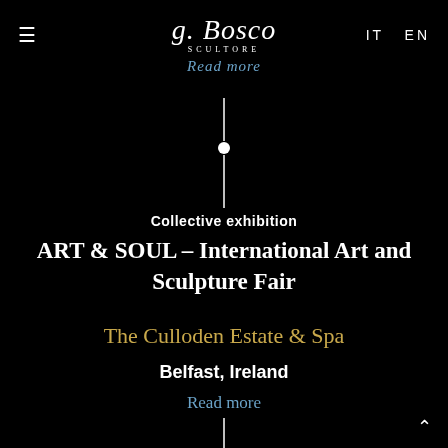≡  G. Bosco SCULTORE  IT  EN
Read more
[Figure (other): Vertical timeline divider line with a white circle dot in the center, on a black background]
Collective exhibition
ART & SOUL – International Art and Sculpture Fair
The Culloden Estate & Spa
Belfast, Ireland
Read more
[Figure (other): Vertical divider line at bottom of page]